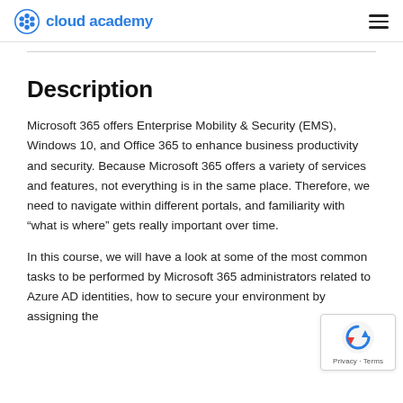cloud academy
Description
Microsoft 365 offers Enterprise Mobility & Security (EMS), Windows 10, and Office 365 to enhance business productivity and security. Because Microsoft 365 offers a variety of services and features, not everything is in the same place. Therefore, we need to navigate within different portals, and familiarity with “what is where” gets really important over time.
In this course, we will have a look at some of the most common tasks to be performed by Microsoft 365 administrators related to Azure AD identities, how to secure your environment by assigning the